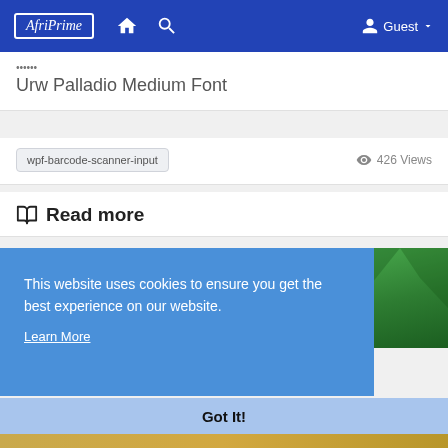AfriPrime — Guest
Urw Palladio Medium Font
wpf-barcode-scanner-input   426 Views
Read more
[Figure (illustration): Green polygonal low-poly background with a glowing hand/fist outline icon in teal/cyan.]
This website uses cookies to ensure you get the best experience on our website. Learn More
Got It!